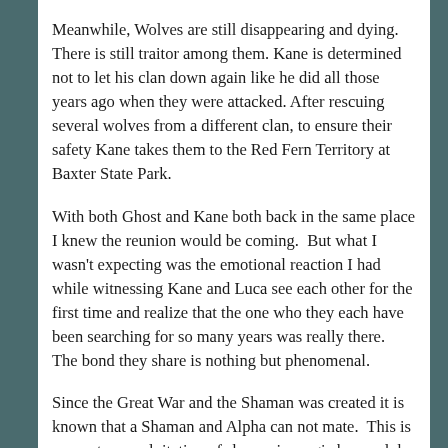Meanwhile, Wolves are still disappearing and dying.  There is still traitor among them. Kane is determined not to let his clan down again like he did all those years ago when they were attacked. After rescuing several wolves from a different clan, to ensure their safety Kane takes them to the Red Fern Territory at Baxter State Park.
With both Ghost and Kane both back in the same place I knew the reunion would be coming.  But what I wasn't expecting was the emotional reaction I had while witnessing Kane and Luca see each other for the first time and realize that the one who they each have been searching for so many years was really there.  The bond they share is nothing but phenomenal.
Since the Great War and the Shaman was created it is known that a Shaman and Alpha can not mate.  This is prevent an exploitation of shamanic magic by an alpha through a mate bond.  So what happens when a Soul Bond destined to be together